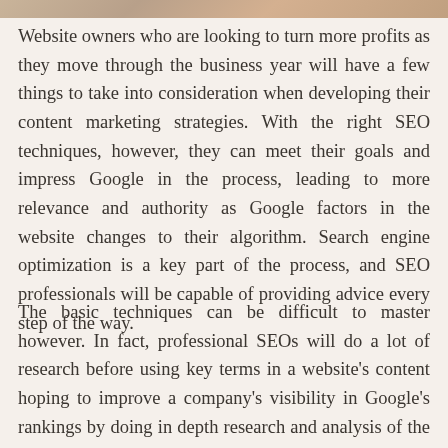[Figure (photo): Partial photo visible at top of page, showing warm-toned image cropped to a narrow strip]
Website owners who are looking to turn more profits as they move through the business year will have a few things to take into consideration when developing their content marketing strategies. With the right SEO techniques, however, they can meet their goals and impress Google in the process, leading to more relevance and authority as Google factors in the website changes to their algorithm. Search engine optimization is a key part of the process, and SEO professionals will be capable of providing advice every step of the way.
The basic techniques can be difficult to master however. In fact, professional SEOs will do a lot of research before using key terms in a website's content hoping to improve a company's visibility in Google's rankings by doing in depth research and analysis of the competition. When businesses move up the Google rankings, they can expect to receive